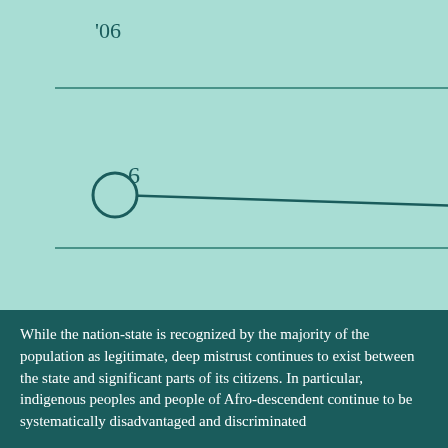[Figure (line-chart): Line chart showing change from '06 to '22]
While the nation-state is recognized by the majority of the population as legitimate, deep mistrust continues to exist between the state and significant parts of its citizens. In particular, indigenous peoples and people of Afro-descendent continue to be systematically disadvantaged and discriminated